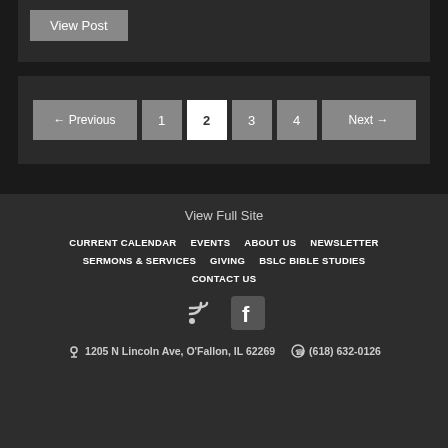View Post
← Previous | 1 | 2 | 3 | 4 | Next →
View Full Site
CURRENT CALENDAR
EVENTS
ABOUT US
NEWSLETTER
SERMONS & SERVICES
GIVING
BSLC BIBLE STUDIES
CONTACT US
[Figure (illustration): RSS and Facebook social icons]
1205 N Lincoln Ave, O'Fallon, IL 62269   (618) 632-0126